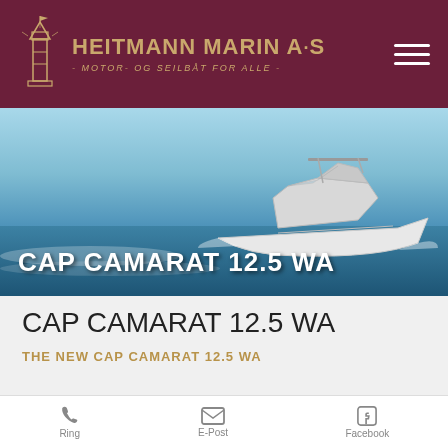HEITMANN MARIN A·S - MOTOR- OG SEILBÅT FOR ALLE -
[Figure (photo): A white motor boat (Cap Camarat 12.5 WA) speeding across the ocean with blue sky and water background. Text overlay reads CAP CAMARAT 12.5 WA.]
CAP CAMARAT 12.5 WA
THE NEW CAP CAMARAT 12.5 WA
Ring  E-Post  Facebook